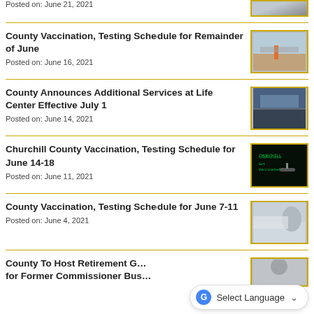Posted on: June 21, 2021
[Figure (photo): Outdoor parking or facility image (partial, top of page)]
County Vaccination, Testing Schedule for Remainder of June
Posted on: June 16, 2021
[Figure (photo): Outdoor vaccination drive-through site with orange cones]
County Announces Additional Services at Life Center Effective July 1
Posted on: June 14, 2021
[Figure (photo): Parking lot or facility at dusk/evening]
Churchill County Vaccination, Testing Schedule for June 14-18
Posted on: June 11, 2021
[Figure (photo): Dark image with green text 'Get Vaccinated' and hand holding syringe]
County Vaccination, Testing Schedule for June 7-11
Posted on: June 4, 2021
[Figure (photo): Person being tested or vaccinated through car window]
County To Host Retirement G… for Former Commissioner Bus…
[Figure (photo): Partial photo of a person, bottom right corner]